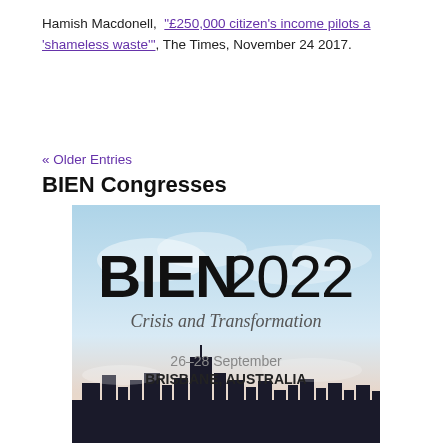Hamish Macdonell, “£250,000 citizen’s income pilots a ‘shameless waste’”, The Times, November 24 2017.
« Older Entries
BIEN Congresses
[Figure (illustration): BIEN 2022 Congress promotional image showing 'BIEN2022' in large bold text, subtitle 'Crisis and Transformation' in italic, date '26-28 September', location 'BRISBANE, AUSTRALIA' in bold, with a city skyline silhouette and blue sky background.]